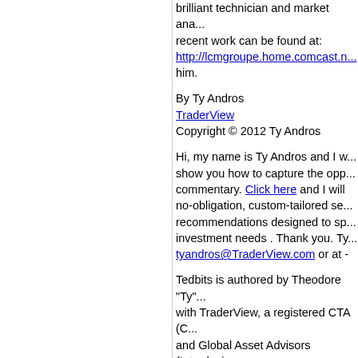brilliant technician and market analyst. His recent work can be found at: http://lcmgroupe.home.comcast.n... him.
By Ty Andros
TraderView
Copyright © 2012 Ty Andros
Hi, my name is Ty Andros and I will show you how to capture the opportunities in this commentary. Click here and I will send you a no-obligation, custom-tailored set of recommendations designed to specifically fit your investment needs . Thank you. Ty tyandros@TraderView.com or at -
Tedbits is authored by Theodore "Ty" ... with TraderView, a registered CTA (C... and Global Asset Advisors (Introducing... managed futures and alternative inve... began his commodity career in the ea... managed futures specialist beginning... include marketing, sales, and portfolio... customer relations and all aspects re... successful managed futures and alte... service. Mr. Andros attended the Univ...